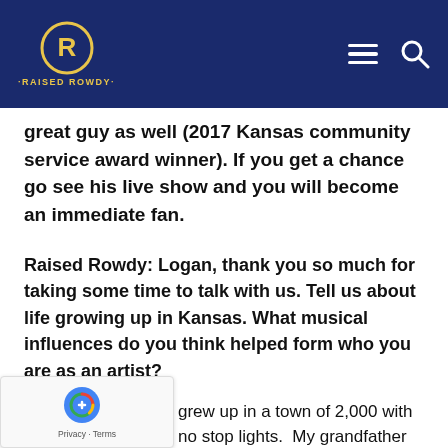RAISED ROWDY (logo/header bar)
great guy as well (2017 Kansas community service award winner). If you get a chance go see his live show and you will become an immediate fan.
Raised Rowdy: Logan, thank you so much for taking some time to talk with us. Tell us about life growing up in Kansas. What musical influences do you think helped form who you are as an artist?
grew up in a town of 2,000 with no stop lights.  My grandfather owned the local grocery store, my dad is the